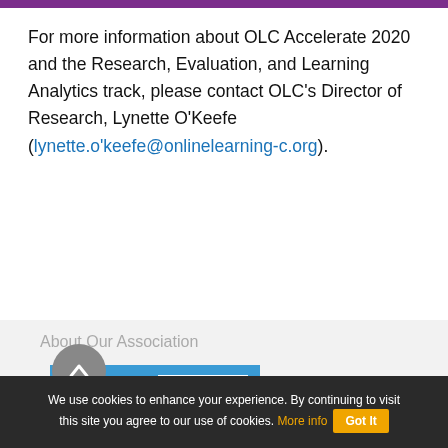[Figure (other): Purple horizontal bar at top of page]
For more information about OLC Accelerate 2020 and the Research, Evaluation, and Learning Analytics track, please contact OLC's Director of Research, Lynette O'Keefe (lynette.o'keefe@onlinelearning-c.org).
About Our Association
[Figure (logo): OLC Online Learning Consortium logo — blue background with white OLC letters and power-button icon]
We use cookies to enhance your experience. By continuing to visit this site you agree to our use of cookies. More info  Got It